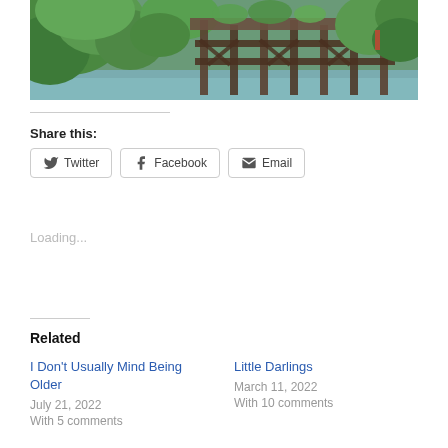[Figure (photo): Photograph of an old wooden dock or pier overgrown with green plants and trees, with water visible in the background.]
Share this:
Twitter  Facebook  Email
Loading...
Related
I Don't Usually Mind Being Older
July 21, 2022
With 5 comments
Little Darlings
March 11, 2022
With 10 comments